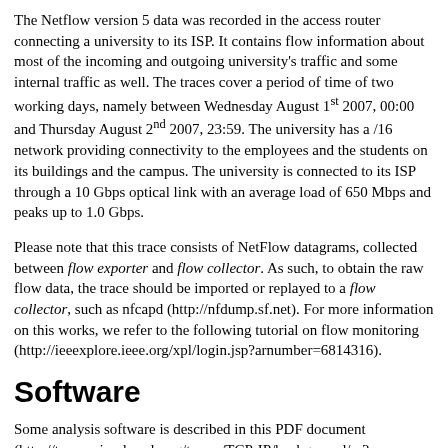The Netflow version 5 data was recorded in the access router connecting a university to its ISP. It contains flow information about most of the incoming and outgoing university's traffic and some internal traffic as well. The traces cover a period of time of two working days, namely between Wednesday August 1st 2007, 00:00 and Thursday August 2nd 2007, 23:59. The university has a /16 network providing connectivity to the employees and the students on its buildings and the campus. The university is connected to its ISP through a 10 Gbps optical link with an average load of 650 Mbps and peaks up to 1.0 Gbps.
Please note that this trace consists of NetFlow datagrams, collected between flow exporter and flow collector. As such, to obtain the raw flow data, the trace should be imported or replayed to a flow collector, such as nfcapd (http://nfdump.sf.net). For more information on this works, we refer to the following tutorial on flow monitoring (http://ieeexplore.ieee.org/xpl/login.jsp?arnumber=6814316).
Software
Some analysis software is described in this PDF document (http://traces.simpleweb.org/traces/TCP-IP/background/m2c-D16.pdf) and can be downloaded from here.